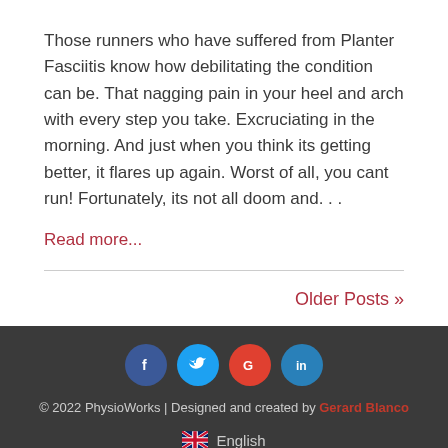Those runners who have suffered from Planter Fasciitis know how debilitating the condition can be. That nagging pain in your heel and arch with every step you take. Excruciating in the morning. And just when you think its getting better, it flares up again. Worst of all, you cant run! Fortunately, its not all doom and...
Read more...
Older Posts »
© 2022 PhysioWorks | Designed and created by Gerard Blanco
🇬🇧 English